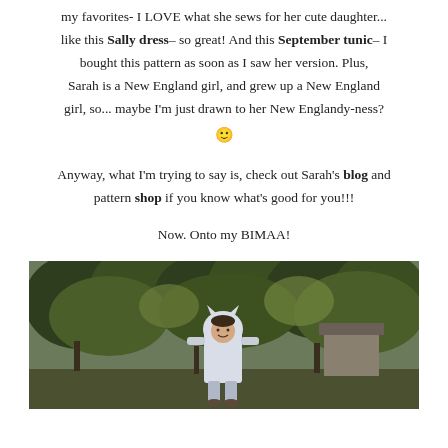my favorites- I LOVE what she sews for her cute daughter... like this Sally dress– so great!  And this September tunic– I bought this pattern as soon as I saw her version.  Plus, Sarah is a New England girl, and grew up a New England girl, so... maybe I'm just drawn to her New Englandy-ness? 🙂
Anyway, what I'm trying to say is, check out Sarah's blog and pattern shop if you know what's good for you!!!
Now.  Onto my BIMAA!
[Figure (photo): A young girl wearing a white hooded costume with animal ears, standing outdoors in a wooded backyard setting with trees and a shed visible in the background.]